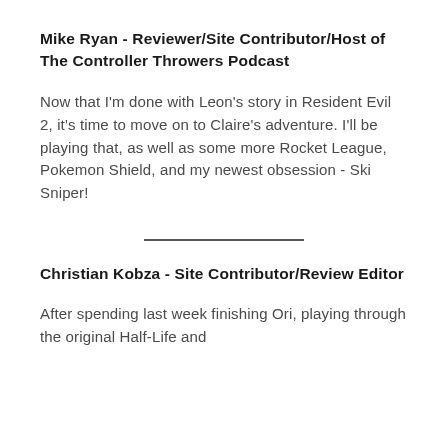Mike Ryan - Reviewer/Site Contributor/Host of The Controller Throwers Podcast
Now that I'm done with Leon's story in Resident Evil 2, it's time to move on to Claire's adventure. I'll be playing that, as well as some more Rocket League, Pokemon Shield, and my newest obsession - Ski Sniper!
Christian Kobza - Site Contributor/Review Editor
After spending last week finishing Ori, playing through the original Half-Life and